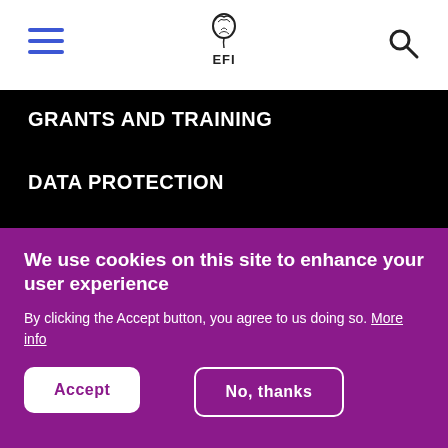[Figure (logo): EFI logo with stylized leaf/acorn icon above text EFI]
GRANTS AND TRAINING
DATA PROTECTION
EQUALITY
We use cookies on this site to enhance your user experience
By clicking the Accept button, you agree to us doing so. More info
Accept
No, thanks